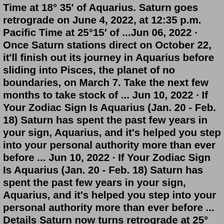Time at 18° 35′ of Aquarius. Saturn goes retrograde on June 4, 2022, at 12:35 p.m. Pacific Time at 25°15′ of ...Jun 06, 2022 · Once Saturn stations direct on October 22, it'll finish out its journey in Aquarius before sliding into Pisces, the planet of no boundaries, on March 7. Take the next few months to take stock of ... Jun 10, 2022 · If Your Zodiac Sign Is Aquarius (Jan. 20 - Feb. 18) Saturn has spent the past few years in your sign, Aquarius, and it's helped you step into your personal authority more than ever before ... Jun 10, 2022 · If Your Zodiac Sign Is Aquarius (Jan. 20 - Feb. 18) Saturn has spent the past few years in your sign, Aquarius, and it's helped you step into your personal authority more than ever before ... Details Saturn now turns retrograde at 25° Aquarius 55′. This retrograde cycle lasts approximately 4.5 months. Saturn turns retrograde on June 4th, 2022, at 25° Aquarius 55′ Saturn will turn direct on October 22, 2022, at 18 ° Aquarius 35′. Saturn Retrograde in Aquarius 2022Saturn retrograde 2022 in Aquarius will occur in the 3rd house for the Sagittarius zodiac sign. As a